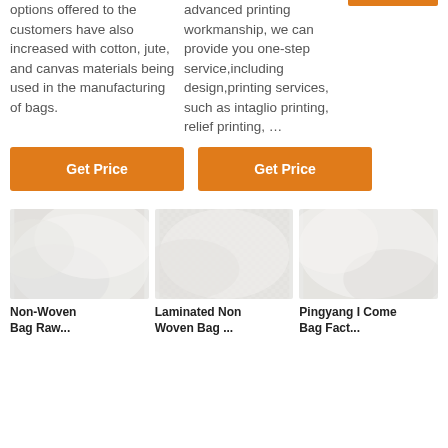options offered to the customers have also increased with cotton, jute, and canvas materials being used in the manufacturing of bags.
advanced printing workmanship, we can provide you one-step service,including design,printing services, such as intaglio printing, relief printing, ...
Get Price
Get Price
[Figure (photo): Close-up photo of white non-woven fabric material]
[Figure (photo): Close-up photo of white laminated non-woven fabric material with texture]
[Figure (photo): Close-up photo of white fabric material - Pingyang]
Non-Woven Bag Raw...
Laminated Non Woven Bag ...
Pingyang I Come Bag Fact...